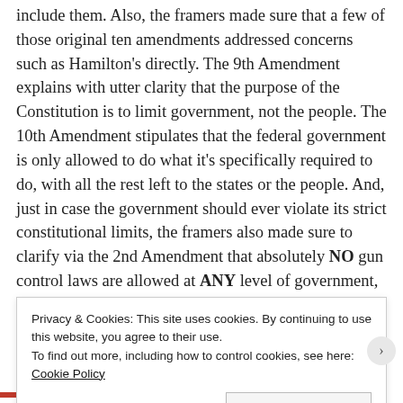include them.  Also, the framers made sure that a few of those original ten amendments addressed concerns such as Hamilton's directly.  The 9th Amendment explains with utter clarity that the purpose of the Constitution is to limit government, not the people.  The 10th Amendment stipulates that the federal government is only allowed to do what it's specifically required to do, with all the rest left to the states or the people.  And, just in case the government should ever violate its strict constitutional limits, the framers also made sure to clarify via the 2nd Amendment that absolutely NO gun control laws are allowed at ANY level of government, so the people would never be deprived of the ability to defend themselves.
Privacy & Cookies: This site uses cookies. By continuing to use this website, you agree to their use.
To find out more, including how to control cookies, see here: Cookie Policy
Close and accept